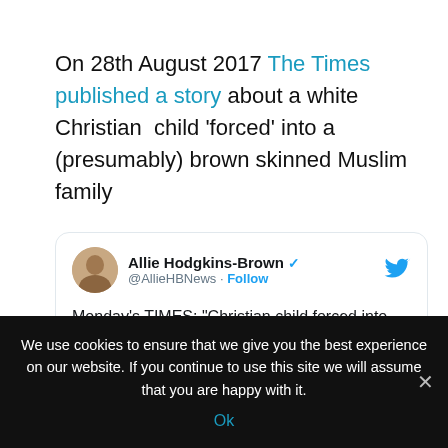On 28th August 2017 The Times published a story about a white Christian child 'forced' into a (presumably) brown skinned Muslim family
[Figure (screenshot): Embedded tweet from @AllieHBNews (Allie Hodgkins-Brown) saying: Monday's TIMES: "Christian child forced into Muslim foster care" #bbcpapers #tomorrowspaperstoday, with a partially visible newspaper front page image at the bottom.]
We use cookies to ensure that we give you the best experience on our website. If you continue to use this site we will assume that you are happy with it.
Ok